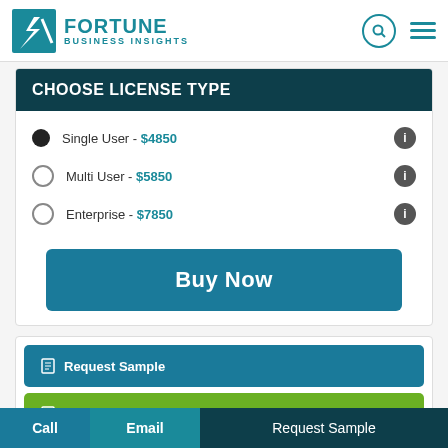Fortune Business Insights
CHOOSE LICENSE TYPE
Single User - $4850
Multi User - $5850
Enterprise - $7850
Buy Now
Request Sample
Ask For Customization
Call  Email  Request Sample